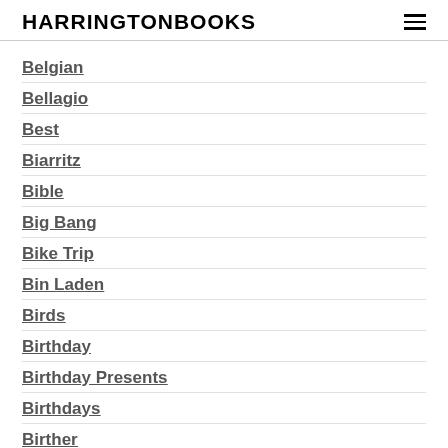HARRINGTONBOOKS
Belgian
Bellagio
Best
Biarritz
Bible
Big Bang
Bike Trip
Bin Laden
Birds
Birthday
Birthday Presents
Birthdays
Birther
Blair
Blog
Blogging
Blogs